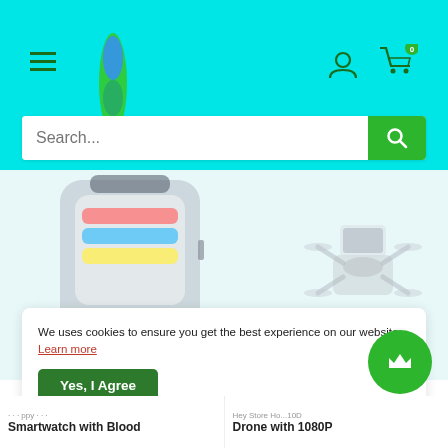[Figure (screenshot): E-commerce website header with cyan background, hamburger menu, logo, user icon, shopping cart with 0 badge, search bar with green search button]
[Figure (photo): Smartwatch product image showing health metrics display on screen]
[Figure (photo): Drone product image shown partially on right side]
We uses cookies to ensure you get the best experience on our website. Learn more
Yes, I Agree
Smartwatch with Blood
Drone with 1080P